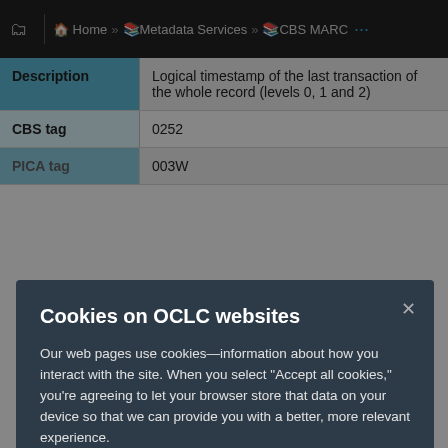Home » Metadata Services » CBS MARC
| Description | Logical timestamp of the last transaction of the whole record (levels 0, 1 and 2) |
| --- | --- |
| CBS tag | 0252 |
| PICA tag | 003W |
Cookies on OCLC websites
Our web pages use cookies—information about how you interact with the site. When you select “Accept all cookies,” you’re agreeing to let your browser store that data on your device so that we can provide you with a better, more relevant experience.
Selecting “Reject unnecessary cookies” limits the data that’s stored to what’s strictly necessary for using the site. However, that may negatively impact your experience. You can also customize your cookie settings.
See our Cookie Notice for more information
Accept all cookies
Reject unnecessary cookies